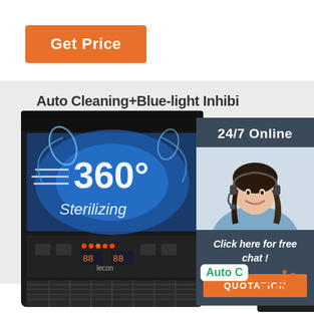[Figure (infographic): Orange 'Get Price' button in top left corner on white background]
[Figure (photo): Commercial ice machine (lecon brand) with blue 360-degree sterilizing UV light display panel and digital controls on lower front, positioned on left side]
Auto Cleaning+Blue-light Inhibi
[Figure (photo): Second commercial ice machine partially visible, center-right area]
Auto C
[Figure (photo): Third commercial ice machine bottom right, showing 360 degree sterilizing display with Chinese characters]
[Figure (photo): Sidebar panel: dark blue-gray background with '24/7 Online' text, photo of female customer service representative with headset, 'Click here for free chat!' text, and orange QUOTATION button]
24/7 Online
Click here for free chat !
QUOTATION
[Figure (logo): TOP text logo with orange dots at bottom right corner]